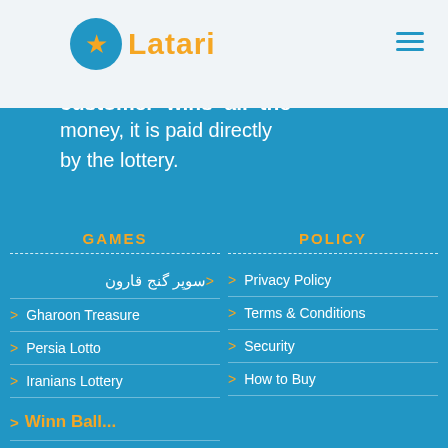Latari logo and navigation header
lottery allows customers to purchase various items, the customer wins all the money, it is paid directly by the lottery.
GAMES
POLICY
سوپر گنج قارون
Privacy Policy
Gharoon Treasure
Terms & Conditions
Persia Lotto
Security
Iranians Lottery
How to Buy